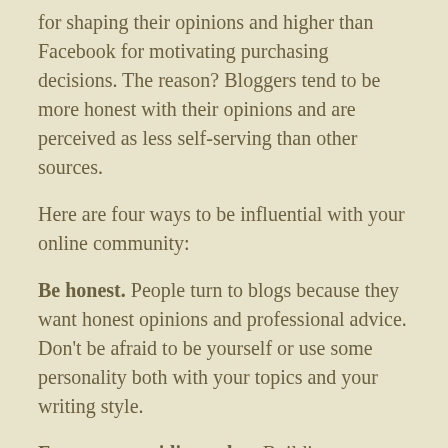for shaping their opinions and higher than Facebook for motivating purchasing decisions. The reason? Bloggers tend to be more honest with their opinions and are perceived as less self-serving than other sources.
Here are four ways to be influential with your online community:
Be honest. People turn to blogs because they want honest opinions and professional advice. Don't be afraid to be yourself or use some personality both with your topics and your writing style.
Focus on providing value. Building strong relationships with your followers is easy when you provide great value for them. Relationships are really a by-product of providing great content and a sense of community.